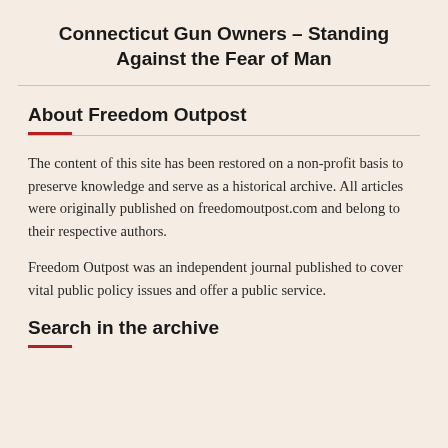Connecticut Gun Owners – Standing Against the Fear of Man
About Freedom Outpost
The content of this site has been restored on a non-profit basis to preserve knowledge and serve as a historical archive. All articles were originally published on freedomoutpost.com and belong to their respective authors.
Freedom Outpost was an independent journal published to cover vital public policy issues and offer a public service.
Search in the archive